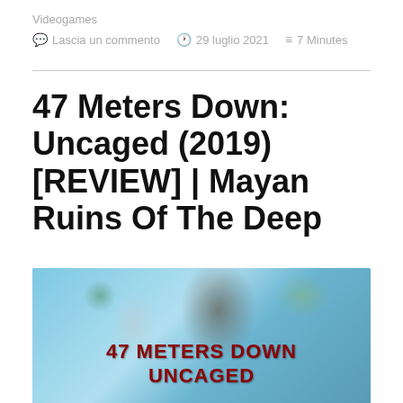Videogames
Lascia un commento   29 luglio 2021   7 Minutes
47 Meters Down: Uncaged (2019) [REVIEW] | Mayan Ruins Of The Deep
[Figure (photo): Movie thumbnail/poster for 47 Meters Down: Uncaged showing people outdoors with text overlay reading '47 METERS DOWN UNCAGED' in dark red bold letters against a bright sky background with palm trees]